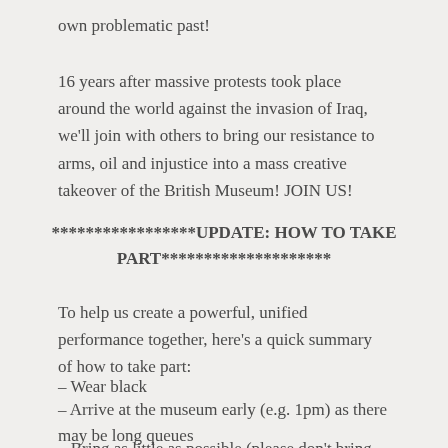own problematic past!
16 years after massive protests took place around the world against the invasion of Iraq, we'll join with others to bring our resistance to arms, oil and injustice into a mass creative takeover of the British Museum! JOIN US!
*****************UPDATE: HOW TO TAKE PART********************
To help us create a powerful, unified performance together, here's a quick summary of how to take part:
– Wear black
– Arrive at the museum early (e.g. 1pm) as there may be long queues
– Bring as little as possible (please don't bring